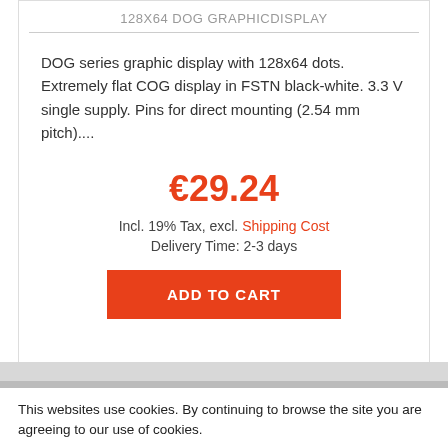128X64 DOG GRAPHICDISPLAY
DOG series graphic display with 128x64 dots. Extremely flat COG display in FSTN black-white. 3.3 V single supply. Pins for direct mounting (2.54 mm pitch)....
€29.24
Incl. 19% Tax, excl. Shipping Cost
Delivery Time: 2-3 days
ADD TO CART
This websites use cookies. By continuing to browse the site you are agreeing to our use of cookies.
✓ Accept
More information